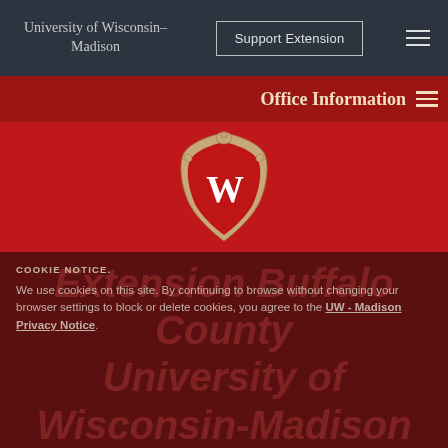University of Wisconsin-Madison
Support Extension
Office Information
[Figure (logo): University of Wisconsin-Madison crest logo with W on red shield with decorative border]
Extension Buffalo County University of Wisconsin-Madison
COOKIE NOTICE. We use cookies on this site. By continuing to browse without changing your browser settings to block or delete cookies, you agree to the UW - Madison Privacy Notice.
Search...
GOT IT!